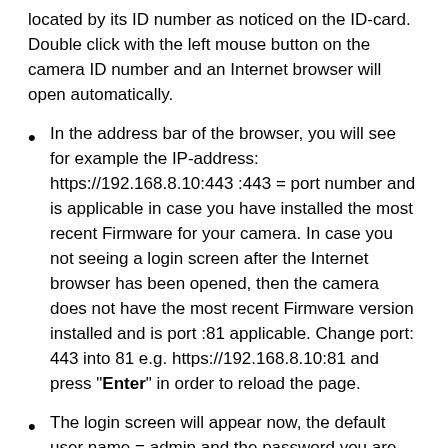located by its ID number as noticed on the ID-card. Double click with the left mouse button on the camera ID number and an Internet browser will open automatically.
In the address bar of the browser, you will see for example the IP-address: https://192.168.8.10:443 :443 = port number and is applicable in case you have installed the most recent Firmware for your camera. In case you not seeing a login screen after the Internet browser has been opened, then the camera does not have the most recent Firmware version installed and is port :81 applicable. Change port: 443 into 81 e.g. https://192.168.8.10:81 and press "Enter" in order to reload the page.
The login screen will appear now, the default user name = admin and the password you are able to retrieve from the ID-card (4 cipher digits) you received along with the camera. After a reset or